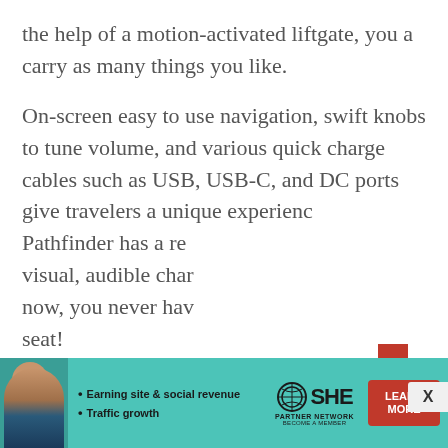the help of a motion-activated liftgate, you a carry as many things you like.
On-screen easy to use navigation, swift knobs to tune volume, and various quick charge cables such as USB, USB-C, and DC ports give travelers a unique experienc Pathfinder has a re visual, audible char now, you never hav seat!
[Figure (other): Advertisement banner for SHE PARTNER NETWORK with a woman's photo, bullets for 'Earning site & social revenue' and 'Traffic growth', SHE logo with globe icon, and a red 'LEARN MORE' button. Background is teal/turquoise.]